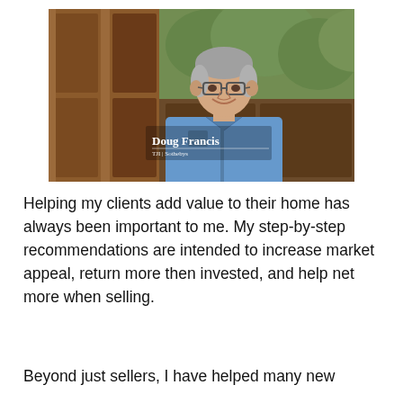[Figure (photo): Professional headshot of Doug Francis, a middle-aged man with gray hair and glasses, wearing a blue button-down shirt, smiling in front of wooden French doors with greenery visible behind. Overlay text reads 'Doug Francis' and 'TJI Sothebys' in white.]
Helping my clients add value to their home has always been important to me. My step-by-step recommendations are intended to increase market appeal, return more then invested, and help net more when selling.
Beyond just sellers, I have helped many new